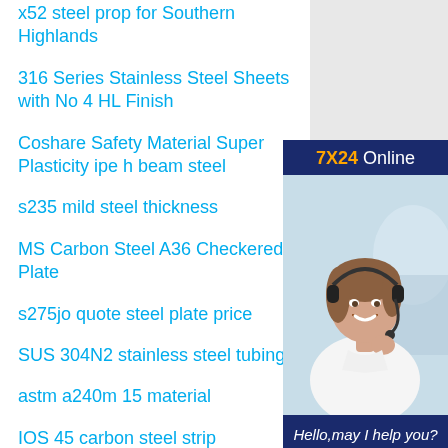x52 steel prop for Southern Highlands
316 Series Stainless Steel Sheets with No 4 HL Finish
Coshare Safety Material Super Plasticity ipe h beam steel
s235 mild steel thickness
MS Carbon Steel A36 Checkered Plate
s275jo quote steel plate price
SUS 304N2 stainless steel tubing
astm a240m 15 material
IOS 45 carbon steel strip
[Figure (infographic): Online customer service advertisement with '7X24 Online' header, photo of smiling woman with headset, 'Hello,may I help you?' tagline and 'Get Latest Price' button on dark navy background]